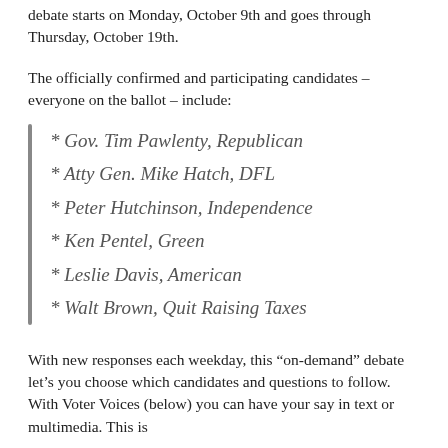debate starts on Monday, October 9th and goes through Thursday, October 19th.
The officially confirmed and participating candidates – everyone on the ballot – include:
* Gov. Tim Pawlenty, Republican
* Atty Gen. Mike Hatch, DFL
* Peter Hutchinson, Independence
* Ken Pentel, Green
* Leslie Davis, American
* Walt Brown, Quit Raising Taxes
With new responses each weekday, this “on-demand” debate let’s you choose which candidates and questions to follow. With Voter Voices (below) you can have your say in text or multimedia. This is